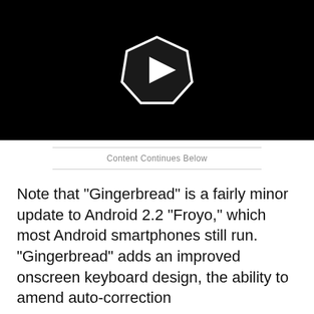[Figure (other): Black video thumbnail with a pentagon-shaped play button icon in the center]
Content Continues Below
Note that "Gingerbread" is a fairly minor update to Android 2.2 "Froyo," which most Android smartphones still run. "Gingerbread" adds an improved onscreen keyboard design, the ability to amend auto-correction